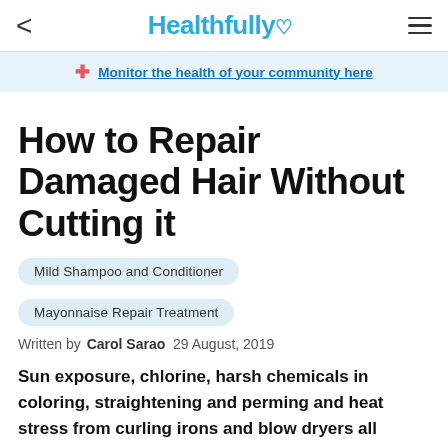Healthfully
Monitor the health of your community here
How to Repair Damaged Hair Without Cutting it
Mild Shampoo and Conditioner
Mayonnaise Repair Treatment
Written by Carol Sarao 29 August, 2019
Sun exposure, chlorine, harsh chemicals in coloring, straightening and perming and heat stress from curling irons and blow dryers all conspire to make your hair porous, brittle, dry and dull. Those with fine hair tend to be